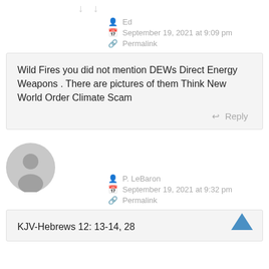Ed
September 19, 2021 at 9:09 pm
Permalink
Wild Fires you did not mention DEWs Direct Energy Weapons . There are pictures of them Think New World Order Climate Scam
Reply
[Figure (illustration): Gray default user avatar circle with person silhouette]
P. LeBaron
September 19, 2021 at 9:32 pm
Permalink
KJV-Hebrews 12: 13-14, 28